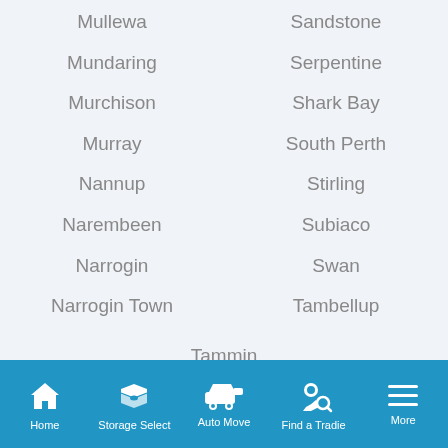Mullewa
Sandstone
Mundaring
Serpentine
Murchison
Shark Bay
Murray
South Perth
Nannup
Stirling
Narembeen
Subiaco
Narrogin
Swan
Narrogin Town
Tambellup
Tammin
Three Springs
Toodyay
Home  Storage Select  Auto Move  Find a Tradie  More